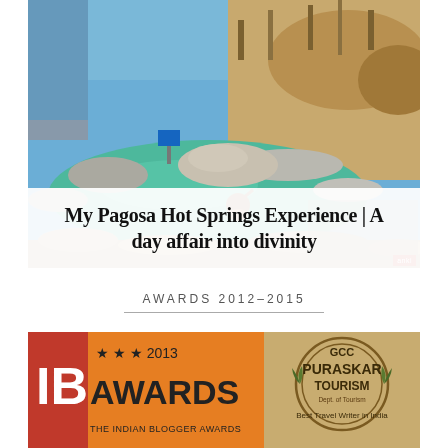[Figure (photo): Outdoor hot springs pool with rocky edges, clear green water, large boulders, a visitor soaking in the pool, dry grass and trees in background, bridge visible in upper left]
My Pagosa Hot Springs Experience | A day affair into divinity
AWARDS 2012–2015
[Figure (photo): Two award badges side by side: left is IB Awards 2013 (The Indian Blogger Awards) on orange/red background with stars; right is GCC Puraskar Tourism award badge - Best Travel Writer in India, on gold/tan background]